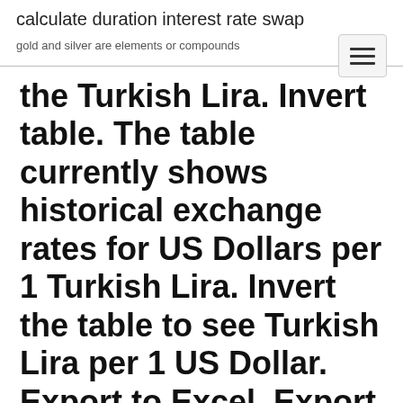calculate duration interest rate swap
gold and silver are elements or compounds
the Turkish Lira. Invert table. The table currently shows historical exchange rates for US Dollars per 1 Turkish Lira. Invert the table to see Turkish Lira per 1 US Dollar. Export to Excel. Export this data to a CSV file which can be imported by Microsoft